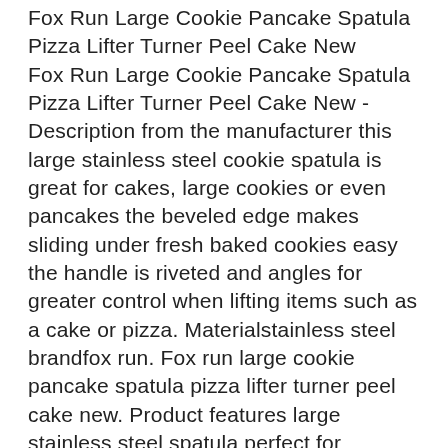Fox Run Large Cookie Pancake Spatula Pizza Lifter Turner Peel Cake New
Fox Run Large Cookie Pancake Spatula Pizza Lifter Turner Peel Cake New - Description from the manufacturer this large stainless steel cookie spatula is great for cakes, large cookies or even pancakes the beveled edge makes sliding under fresh baked cookies easy the handle is riveted and angles for greater control when lifting items such as a cake or pizza. Materialstainless steel brandfox run. Fox run large cookie pancake spatula pizza lifter turner peel cake new. Product features large stainless steel spatula perfect for cookies,cakes, small pizzas and pancakes measures 15-inch.